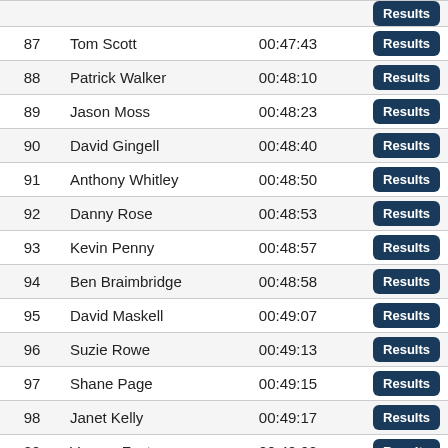| # | Name | Time |  |
| --- | --- | --- | --- |
| 87 | Tom Scott | 00:47:43 | Results |
| 88 | Patrick Walker | 00:48:10 | Results |
| 89 | Jason Moss | 00:48:23 | Results |
| 90 | David Gingell | 00:48:40 | Results |
| 91 | Anthony Whitley | 00:48:50 | Results |
| 92 | Danny Rose | 00:48:53 | Results |
| 93 | Kevin Penny | 00:48:57 | Results |
| 94 | Ben Braimbridge | 00:48:58 | Results |
| 95 | David Maskell | 00:49:07 | Results |
| 96 | Suzie Rowe | 00:49:13 | Results |
| 97 | Shane Page | 00:49:15 | Results |
| 98 | Janet Kelly | 00:49:17 | Results |
| 99 | Vernon Foster | 00:49:22 | Results |